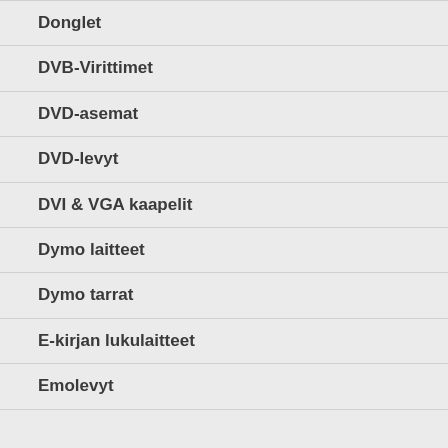Donglet
DVB-Virittimet
DVD-asemat
DVD-levyt
DVI & VGA kaapelit
Dymo laitteet
Dymo tarrat
E-kirjan lukulaitteet
Emolevyt